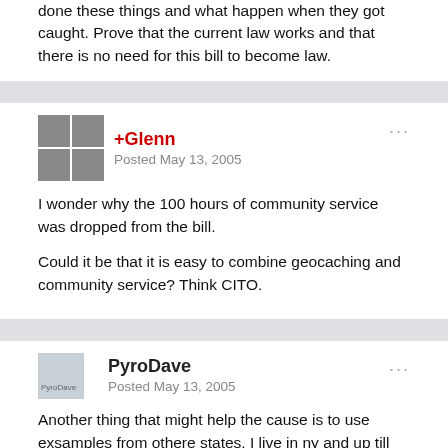done these things and what happen when they got caught. Prove that the current law works and that there is no need for this bill to become law.
+Glenn
Posted May 13, 2005
I wonder why the 100 hours of community service was dropped from the bill.

Could it be that it is easy to combine geocaching and community service? Think CITO.
PyroDave
Posted May 13, 2005
Another thing that might help the cause is to use exsamples from othere states. I live in ny and up till recently the DEC didnt alow placment in any of there lands. But after alot of work they changed there rules. The NY